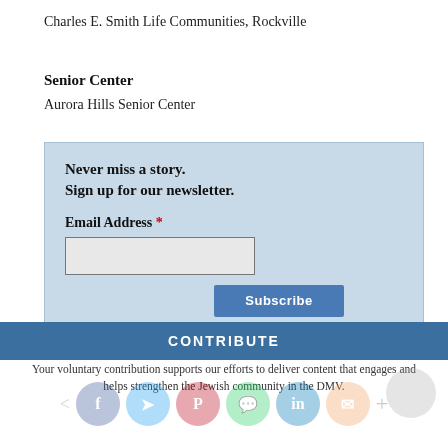Charles E. Smith Life Communities, Rockville
Senior Center
Aurora Hills Senior Center
Never miss a story.
Sign up for our newsletter.
Email Address *
WASHINGTON JEWISH WEEK IS HERE FOR YOU
Your voluntary contribution supports our efforts to deliver content that engages and helps strengthen the Jewish community in the DMV.
CONTRIBUTE